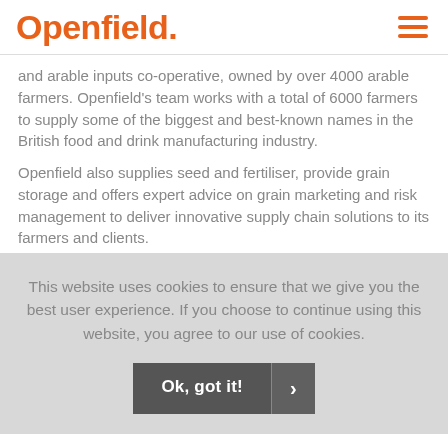Openfield.
and arable inputs co-operative, owned by over 4000 arable farmers. Openfield's team works with a total of 6000 farmers to supply some of the biggest and best-known names in the British food and drink manufacturing industry.
Openfield also supplies seed and fertiliser, provide grain storage and offers expert advice on grain marketing and risk management to deliver innovative supply chain solutions to its farmers and clients.
This website uses cookies to ensure that we give you the best user experience. If you choose to continue using this website, you agree to our use of cookies.
Ok, got it!